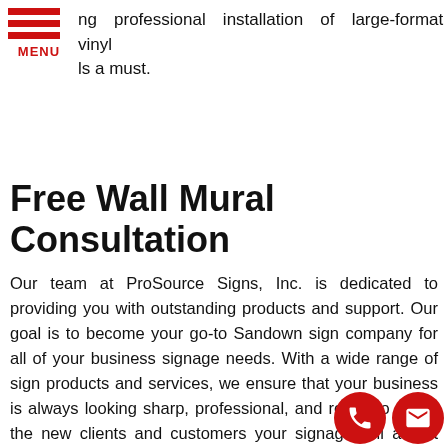[Figure (logo): Hamburger menu icon with three red horizontal bars and MENU label in red]
ng professional installation of large-format vinyl ls a must.
Free Wall Mural Consultation
Our team at ProSource Signs, Inc. is dedicated to providing you with outstanding products and support. Our goal is to become your go-to Sandown sign company for all of your business signage needs. With a wide range of sign products and services, we ensure that your business is always looking sharp, professional, and ready to assist the new clients and customers your signage will attract every single day.
Call ProSource Signs, Inc. at (603) 346 fo ee Consultation with a Wall Mural Expert!
[Figure (illustration): Red circle with white phone icon]
[Figure (illustration): Red circle with white envelope/mail icon]